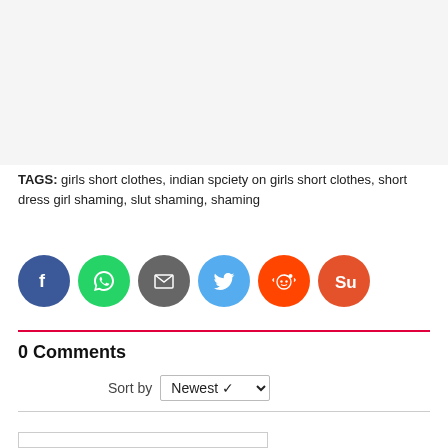[Figure (other): Gray placeholder/ad area at top of page]
TAGS: girls short clothes, indian spciety on girls short clothes, short dress girl shaming, slut shaming, shaming
[Figure (infographic): Row of social share buttons: Facebook (blue), WhatsApp (green), Email (gray), Twitter (blue), Reddit (orange), StumbleUpon (red-orange)]
0 Comments
Sort by Newest